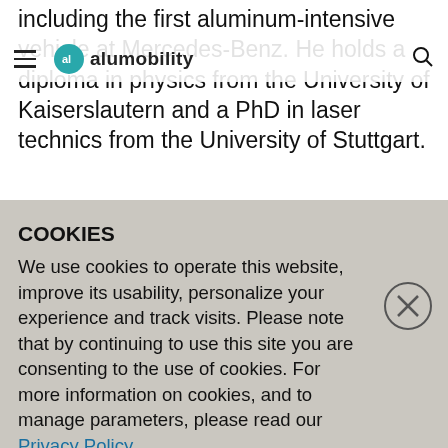including the first aluminum-intensive vehicle at Mercedes-Benz. He holds a diploma in physics from the University of Kaiserslautern and a PhD in laser technics from the University of Stuttgart.
“We are very pleased to welcome Thomas as Managing Director,” said Pierre Labat, President of Alumobility. “His strong technical knowledge of aluminum, as well as his
COOKIES
We use cookies to operate this website, improve its usability, personalize your experience and track visits. Please note that by continuing to use this site you are consenting to the use of cookies. For more information on cookies, and to manage parameters, please read our Privacy Policy.